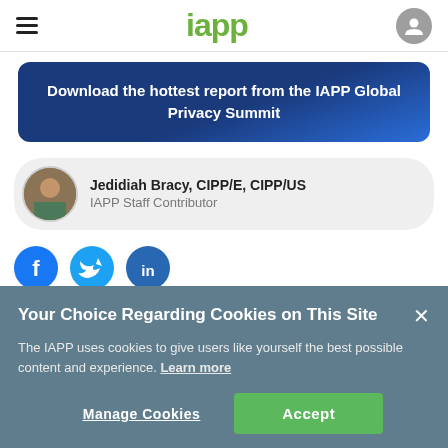iapp
[Figure (illustration): Blue banner with text: Download the hottest report from the IAPP Global Privacy Summit]
Jedidiah Bracy, CIPP/E, CIPP/US
IAPP Staff Contributor
[Figure (other): Social sharing icons: Facebook, Twitter, LinkedIn]
Your Choice Regarding Cookies on This Site
The IAPP uses cookies to give users like yourself the best possible content and experience. Learn more
Manage Cookies   Accept